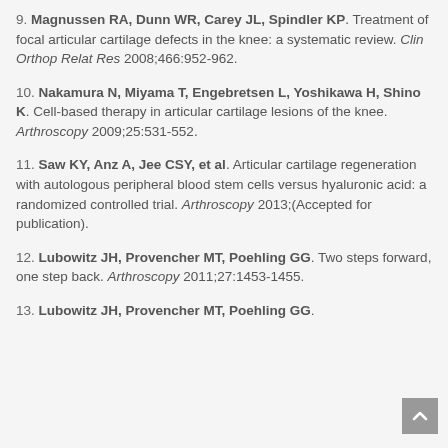9. Magnussen RA, Dunn WR, Carey JL, Spindler KP. Treatment of focal articular cartilage defects in the knee: a systematic review. Clin Orthop Relat Res 2008;466:952-962.
10. Nakamura N, Miyama T, Engebretsen L, Yoshikawa H, Shino K. Cell-based therapy in articular cartilage lesions of the knee. Arthroscopy 2009;25:531-552.
11. Saw KY, Anz A, Jee CSY, et al. Articular cartilage regeneration with autologous peripheral blood stem cells versus hyaluronic acid: a randomized controlled trial. Arthroscopy 2013;(Accepted for publication).
12. Lubowitz JH, Provencher MT, Poehling GG. Two steps forward, one step back. Arthroscopy 2011;27:1453-1455.
13. Lubowitz JH, Provencher MT, Poehling GG.